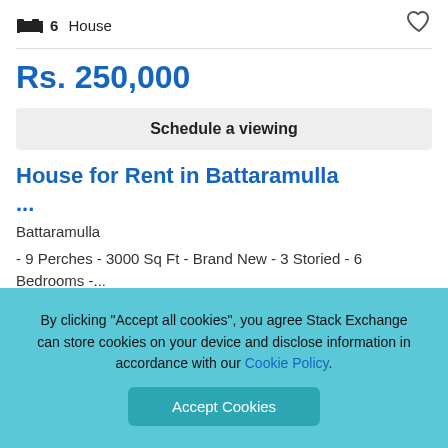6 House
Rs. 250,000
Schedule a viewing
House for Rent in Battaramulla
...
Battaramulla
- 9 Perches - 3000 Sq Ft - Brand New - 3 Storied - 6 Bedrooms -...
By clicking "Accept all cookies", you agree Stack Exchange can store cookies on your device and disclose information in accordance with our Cookie Policy.
Accept Cookies